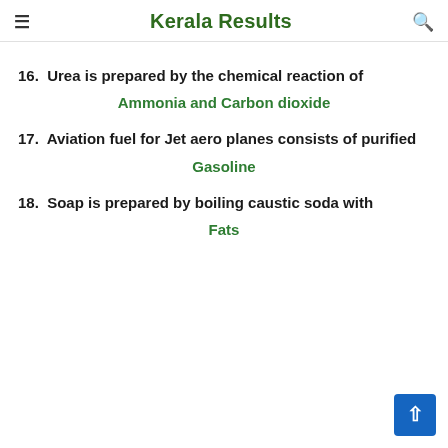Kerala Results
16. Urea is prepared by the chemical reaction of
Ammonia and Carbon dioxide
17. Aviation fuel for Jet aero planes consists of purified
Gasoline
18. Soap is prepared by boiling caustic soda with
Fats